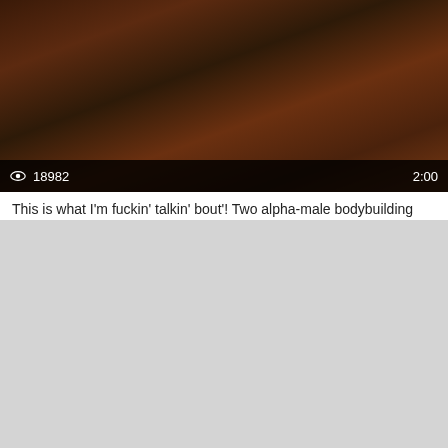[Figure (screenshot): Video thumbnail showing two muscular figures, dark/low-light scene, with a bottom bar showing eye icon, view count 18982, and duration 2:00]
This is what I'm fuckin' talkin' bout'! Two alpha-male bodybuilding studs...
Dark Thunder
FUCKING GAY TUBE
All models were 18 years of age or older at the time of depiction. fuckinggaytube.com has a zero-tolerance policy against illegal pornography.
2257 regulations
Webmasters
Contact Us